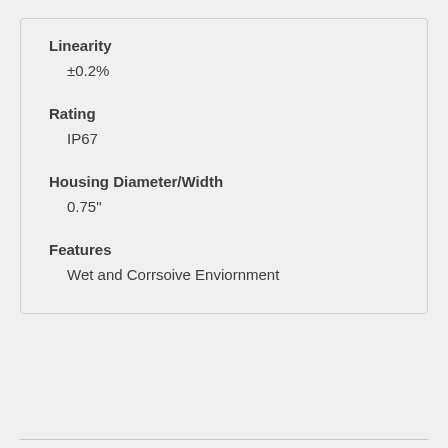Linearity
±0.2%
Rating
IP67
Housing Diameter/Width
0.75"
Features
Wet and Corrsoive Enviornment